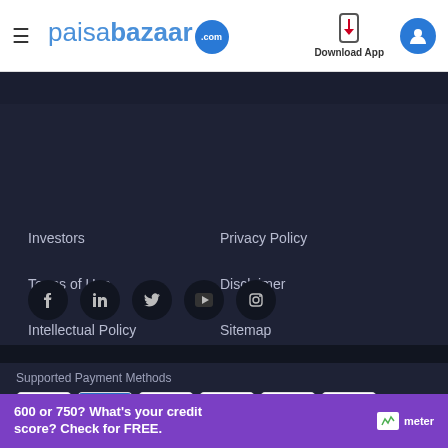paisabazaar.com | Download App
Investors
Privacy Policy
Terms of Use
Disclaimer
Intellectual Policy
Sitemap
[Figure (infographic): Social media icons: Facebook, LinkedIn, Twitter, YouTube, Instagram]
Supported Payment Methods
[Figure (infographic): Payment method logos: VISA, American Express, MasterCard, Diners Club, RuPay, Maestro]
Secured By
Certified By
600 or 750? What's your credit score? Check for FREE.